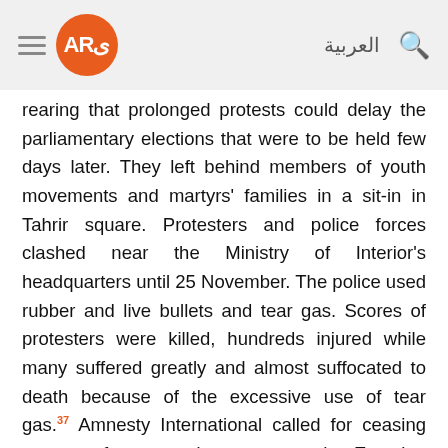AR [logo] العربية [search]
rearing that prolonged protests could delay the parliamentary elections that were to be held few days later. They left behind members of youth movements and martyrs' families in a sit-in in Tahrir square. Protesters and police forces clashed near the Ministry of Interior's headquarters until 25 November. The police used rubber and live bullets and tear gas. Scores of protesters were killed, hundreds injured while many suffered greatly and almost suffocated to death because of the excessive use of tear gas.[37] Amnesty International called for ceasing exports of arms and tear gas to the Egyptian Ministry of Interior until the police is restructured.[38]